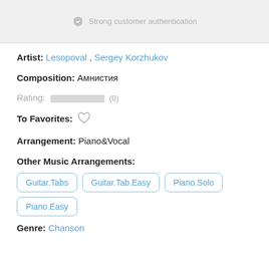Strong customer authentication
Artist: Lesopoval , Sergey Korzhukov
Composition: Амнистия
Rating: (0)
To Favorites: ♡
Arrangement: Piano&Vocal
Other Music Arrangements:
Guitar.Tabs
Guitar.Tab.Easy
Piano.Solo
Piano.Easy
Genre: Chanson